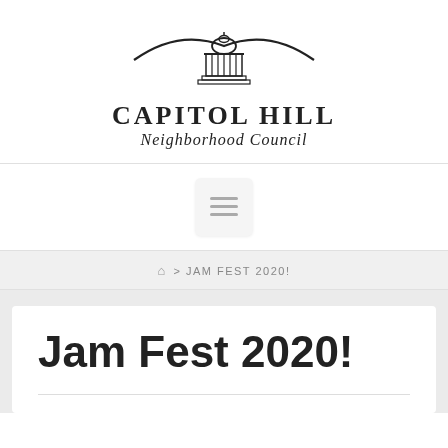[Figure (logo): Capitol Hill Neighborhood Council logo with dome/capitol building illustration above the organization name]
[Figure (other): Hamburger menu button (three horizontal lines) inside a rounded rectangle]
🏠 > JAM FEST 2020!
Jam Fest 2020!